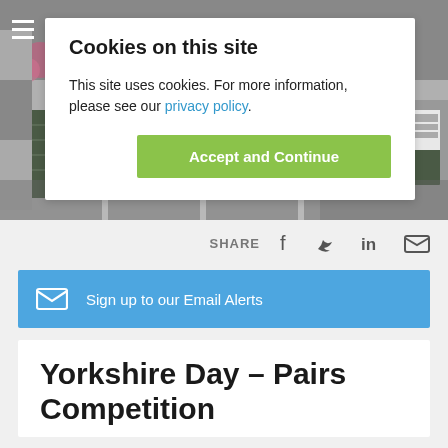[Figure (photo): Background photo of a building exterior with green shuttered garage doors and flower baskets]
Cookies on this site
This site uses cookies. For more information, please see our privacy policy.
Accept and Continue
SHARE
Sign up to our Email Alerts
Yorkshire Day – Pairs Competition